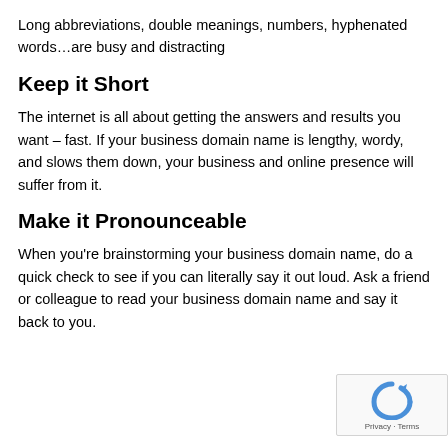Long abbreviations, double meanings, numbers, hyphenated words…are busy and distracting
Keep it Short
The internet is all about getting the answers and results you want – fast. If your business domain name is lengthy, wordy, and slows them down, your business and online presence will suffer from it.
Make it Pronounceable
When you're brainstorming your business domain name, do a quick check to see if you can literally say it out loud. Ask a friend or colleague to read your business domain name and say it back to you.